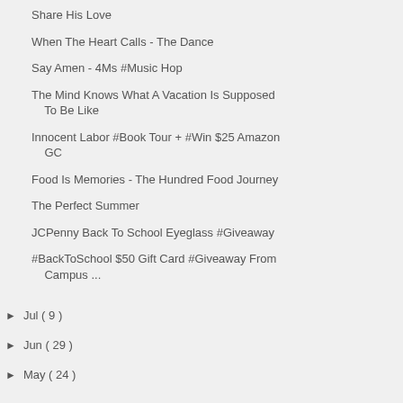Share His Love
When The Heart Calls - The Dance
Say Amen - 4Ms #Music Hop
The Mind Knows What A Vacation Is Supposed To Be Like
Innocent Labor #Book Tour + #Win $25 Amazon GC
Food Is Memories - The Hundred Food Journey
The Perfect Summer
JCPenny Back To School Eyeglass #Giveaway
#BackToSchool $50 Gift Card #Giveaway From Campus ...
► Jul ( 9 )
► Jun ( 29 )
► May ( 24 )